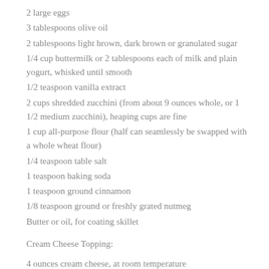2 large eggs
3 tablespoons olive oil
2 tablespoons light brown, dark brown or granulated sugar
1/4 cup buttermilk or 2 tablespoons each of milk and plain yogurt, whisked until smooth
1/2 teaspoon vanilla extract
2 cups shredded zucchini (from about 9 ounces whole, or 1 1/2 medium zucchini), heaping cups are fine
1 cup all-purpose flour (half can seamlessly be swapped with a whole wheat flour)
1/4 teaspoon table salt
1 teaspoon baking soda
1 teaspoon ground cinnamon
1/8 teaspoon ground or freshly grated nutmeg
Butter or oil, for coating skillet
Cream Cheese Topping:
4 ounces cream cheese, at room temperature